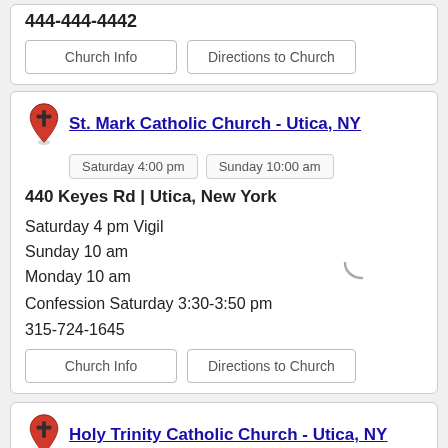Church Info | Directions to Church (top partial card buttons)
St. Mark Catholic Church - Utica, NY
Saturday 4:00 pm | Sunday 10:00 am
440 Keyes Rd | Utica, New York
Saturday 4 pm Vigil
Sunday 10 am
Monday 10 am
Confession Saturday 3:30-3:50 pm
315-724-1645
Church Info | Directions to Church
Holy Trinity Catholic Church - Utica, NY
Saturday 5:00 pm | Sunday 10:00 am
Sunday 11:30 am Polish | Sunday 9:00